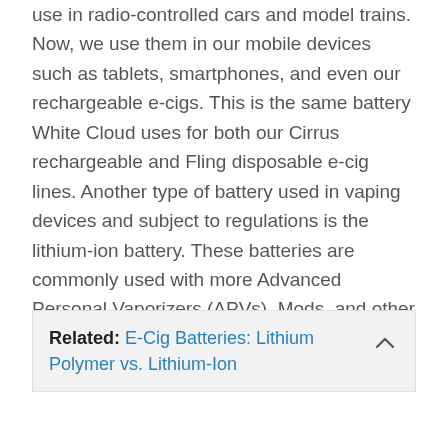use in radio-controlled cars and model trains. Now, we use them in our mobile devices such as tablets, smartphones, and even our rechargeable e-cigs. This is the same battery White Cloud uses for both our Cirrus rechargeable and Fling disposable e-cig lines. Another type of battery used in vaping devices and subject to regulations is the lithium-ion battery. These batteries are commonly used with more Advanced Personal Vaporizers (APVs), Mods, and other highly customizable vaping devices.
Related: E-Cig Batteries: Lithium Polymer vs. Lithium-Ion